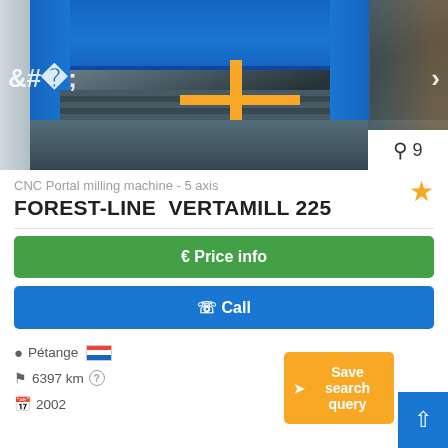[Figure (photo): CNC Portal milling machine in an industrial facility, large blue gantry structure over a worktable, yellow safety railing, dark floor, photographed from the front]
CNC Portal milling machine - 5 axis
FOREST-LINE  VERTAMILL 225
€ Price info
☎ Call
Pétange 🇱🇺
6397 km ?
2002
Save search query